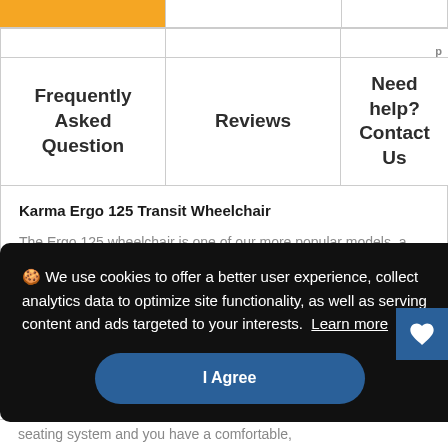| Frequently Asked Question | Reviews | Need help? Contact Us |
| --- | --- | --- |
Karma Ergo 125 Transit Wheelchair
The Ergo 125 wheelchair is one of our more popular models, a dream to use because of its lightweight aircraft aluminum frame that can be
🍪 We use cookies to offer a better user experience, collect analytics data to optimize site functionality, as well as serving content and ads targeted to your interests. Learn more
I Agree
seating system and you have a comfortable,